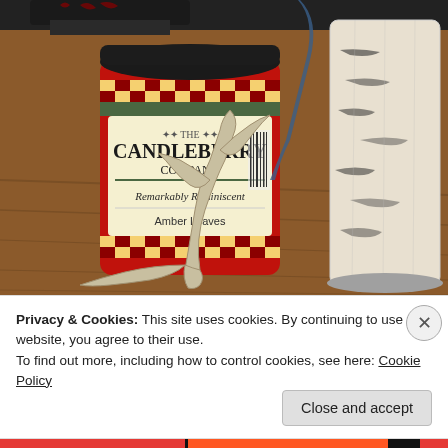[Figure (photo): Photo of a Candleberry Company 'Amber Leaves' scented candle in a red jar with black and gold checkered label, surrounded by a deer antler and a birch bark candle on a wooden table surface.]
Privacy & Cookies: This site uses cookies. By continuing to use this website, you agree to their use.
To find out more, including how to control cookies, see here: Cookie Policy